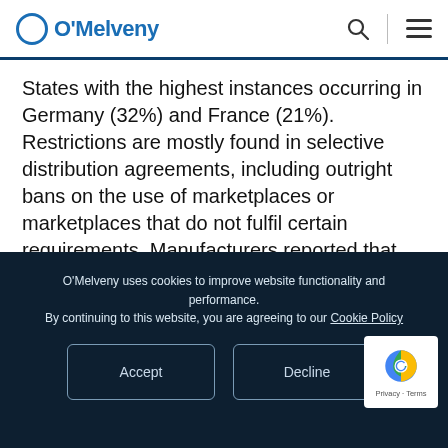O'Melveny
States with the highest instances occurring in Germany (32%) and France (21%). Restrictions are mostly found in selective distribution agreements, including outright bans on the use of marketplaces or marketplaces that do not fulfil certain requirements. Manufacturers reported that these restrictions are necessary to protect the
O'Melveny uses cookies to improve website functionality and performance. By continuing to this website, you are agreeing to our Cookie Policy
Accept
Decline